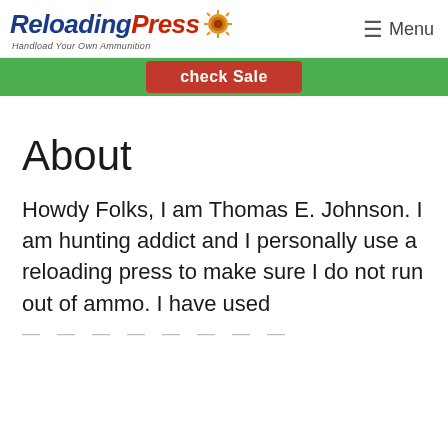ReloadingPress — Handload Your Own Ammunition | Menu
[Figure (screenshot): Green banner with red Check Sale button]
About
Howdy Folks, I am Thomas E. Johnson. I am hunting addict and I personally use a reloading press to make sure I do not run out of ammo. I have used